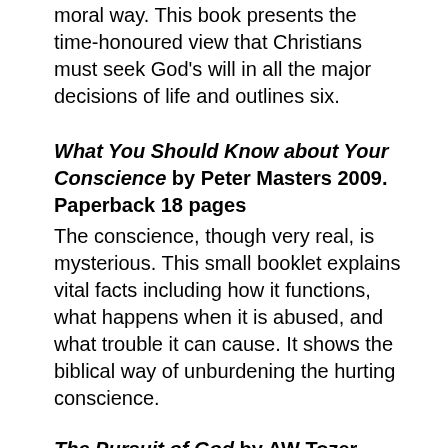moral way. This book presents the time-honoured view that Christians must seek God's will in all the major decisions of life and outlines six.
What You Should Know about Your Conscience by Peter Masters 2009. Paperback 18 pages
The conscience, though very real, is mysterious. This small booklet explains vital facts including how it functions, what happens when it is abused, and what trouble it can cause. It shows the biblical way of unburdening the hurting conscience.
The Pursuit of God by AW Tozer 1948. Paperback 100 pages
Tozer was a pastor in Chicago when he wrote this classic. He had detected among Christians a thirst for a real relationship with God. He realised that it is not mere words which nourish the soul, but God Himself, and unless and until the hearers find God in personal